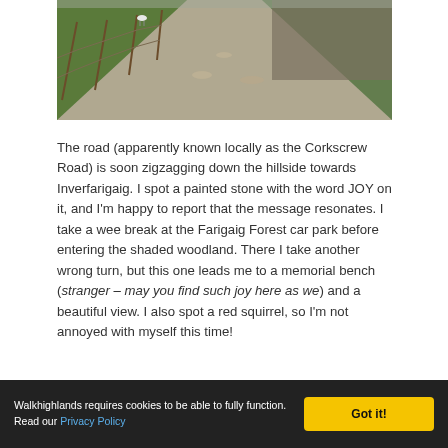[Figure (photo): A narrow gravel road stretching into the distance, flanked by green grass on the left with wooden fence posts, and a stone wall on the right. Overcast sky visible at the top.]
The road (apparently known locally as the Corkscrew Road) is soon zigzagging down the hillside towards Inverfarigaig. I spot a painted stone with the word JOY on it, and I'm happy to report that the message resonates. I take a wee break at the Farigaig Forest car park before entering the shaded woodland. There I take another wrong turn, but this one leads me to a memorial bench (stranger – may you find such joy here as we) and a beautiful view. I also spot a red squirrel, so I'm not annoyed with myself this time!
Walkhighlands requires cookies to be able to fully function. Read our Privacy Policy  [Got it!]